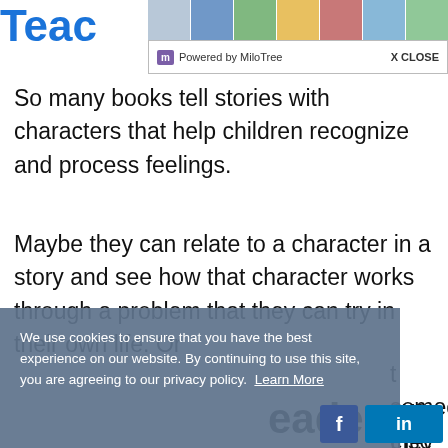Teac
[Figure (screenshot): Top image strip showing colorful book/educational thumbnails, partially obscured by MiloTree popup banner saying 'Powered by MiloTree  X CLOSE']
So many books tell stories with characters that help children recognize and process feelings.
Maybe they can relate to a character in a story and see how that character works through a problem that they can try in their own life. Or
t someone else
ays they can
We use cookies to ensure that you have the best experience on our website. By continuing to use this site, you are agreeing to our privacy policy. Learn More
Got it!
eader